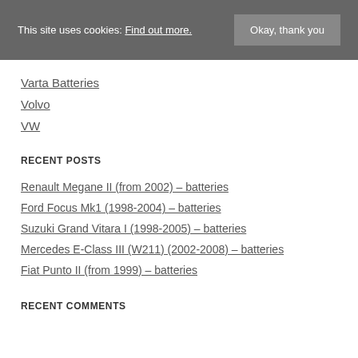This site uses cookies: Find out more. Okay, thank you
Varta Batteries
Volvo
VW
RECENT POSTS
Renault Megane II (from 2002) – batteries
Ford Focus Mk1 (1998-2004) – batteries
Suzuki Grand Vitara I (1998-2005) – batteries
Mercedes E-Class III (W211) (2002-2008) – batteries
Fiat Punto II (from 1999) – batteries
RECENT COMMENTS